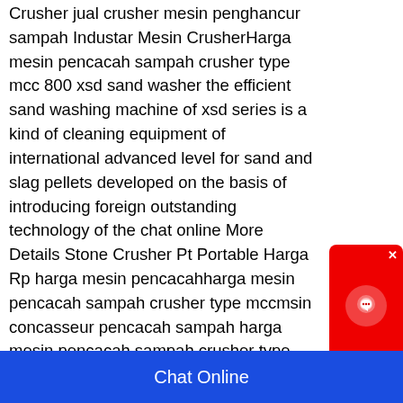Crusher jual crusher mesin penghancur sampah Industar Mesin CrusherHarga mesin pencacah sampah crusher type mcc 800 xsd sand washer the efficient sand washing machine of xsd series is a kind of cleaning equipment of international advanced level for sand and slag pellets developed on the basis of introducing foreign outstanding technology of the chat online More Details Stone Crusher Pt Portable Harga Rp harga mesin pencacahharga mesin pencacah sampah crusher type mccmsin concasseur pencacah sampah harga mesin pencacah sampah crusher type mcc 800 Mesin Pencacah Sampah Organik anekamesin Mesin pencacah sampah organik dapat digunakan oleh pelaku usaha di bidang pengolahan sampah seperti TPST,KSM Pengolahan Sampah, Bank Sampah, Petani,
[Figure (other): Chat Now widget — red rounded rectangle with headset icon on top, dark background with 'Chat Now' text below]
Chat Online